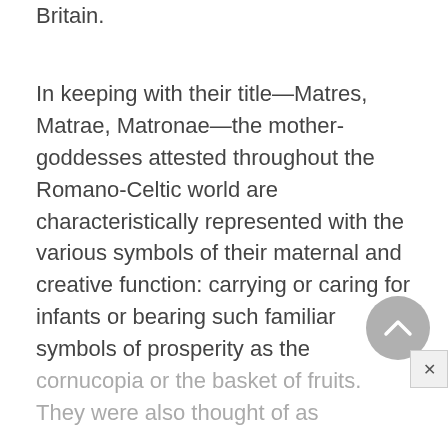great ancestresses of the island of Britain.
In keeping with their title—Matres, Matrae, Matronae—the mother-goddesses attested throughout the Romano-Celtic world are characteristically represented with the various symbols of their maternal and creative function: carrying or caring for infants or bearing such familiar symbols of prosperity as the cornucopia or the basket of fruits. They were also thought of as